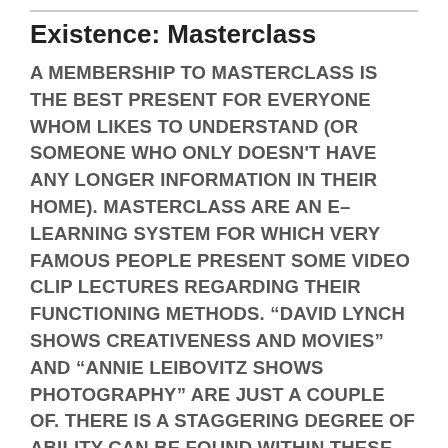Existence: Masterclass
A MEMBERSHIP TO MASTERCLASS IS THE BEST PRESENT FOR EVERYONE WHOM LIKES TO UNDERSTAND (OR SOMEONE WHO ONLY DOESN'T HAVE ANY LONGER INFORMATION IN THEIR HOME). MASTERCLASS ARE AN E–LEARNING SYSTEM FOR WHICH VERY FAMOUS PEOPLE PRESENT SOME VIDEO CLIP LECTURES REGARDING THEIR FUNCTIONING METHODS. “DAVID LYNCH SHOWS CREATIVENESS AND MOVIES” AND “ANNIE LEIBOVITZ SHOWS PHOTOGRAPHY” ARE JUST A COUPLE OF. THERE IS A STAGGERING DEGREE OF ABILITY CAN BE FOUND WITHIN THESE DIGITAL IVY WALL SPACE. MASTERCLASS'S LINEUP HAVE OVER 65 OF THE